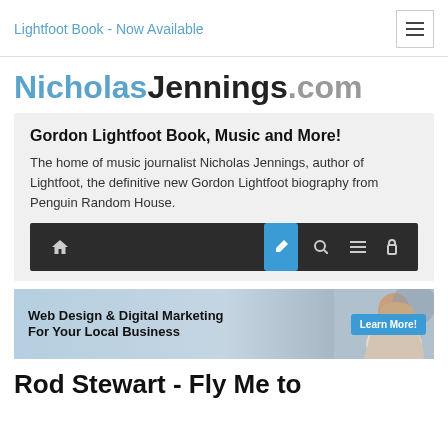Lightfoot Book - Now Available
NicholasJennings.com
Gordon Lightfoot Book, Music and More!
The home of music journalist Nicholas Jennings, author of Lightfoot, the definitive new Gordon Lightfoot biography from Penguin Random House.
[Figure (screenshot): Website toolbar/navigation bar with home, pencil/edit (active, blue), search, menu, and lock icons on dark background]
[Figure (infographic): Advertisement banner: Web Design & Digital Marketing For Your Local Business. Learn More! button. Woman smiling on right side.]
Rod Stewart - Fly Me to